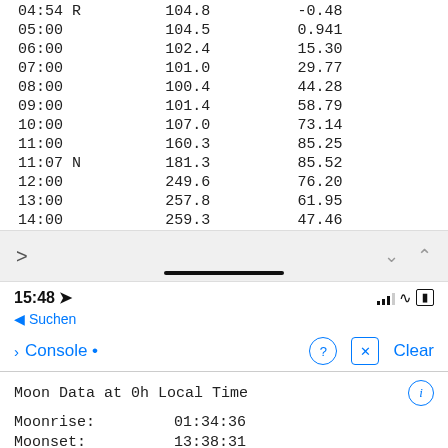| Time | Az | Alt |
| --- | --- | --- |
| 04:54 R | 104.8 | -0.48 |
| 05:00 | 104.5 | 0.941 |
| 06:00 | 102.4 | 15.30 |
| 07:00 | 101.0 | 29.77 |
| 08:00 | 100.4 | 44.28 |
| 09:00 | 101.4 | 58.79 |
| 10:00 | 107.0 | 73.14 |
| 11:00 | 160.3 | 85.25 |
| 11:07 N | 181.3 | 85.52 |
| 12:00 | 249.6 | 76.20 |
| 13:00 | 257.8 | 61.95 |
| 14:00 | 259.3 | 47.46 |
15:48 ◀ Suchen
Console •
Moon Data at 0h Local Time
Moonrise: 01:34:36
Moonset: 13:38:31
Moon age: 24.4 days
Moon phase: Wan. Crescent